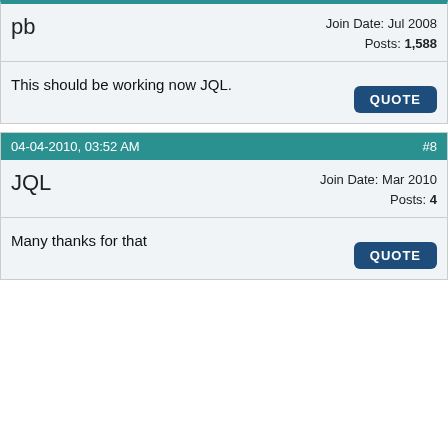pb
Join Date: Jul 2008
Posts: 1,588
This should be working now JQL.
QUOTE
04-04-2010, 03:52 AM   #8
JQL
Join Date: Mar 2010
Posts: 4
Many thanks for that
QUOTE